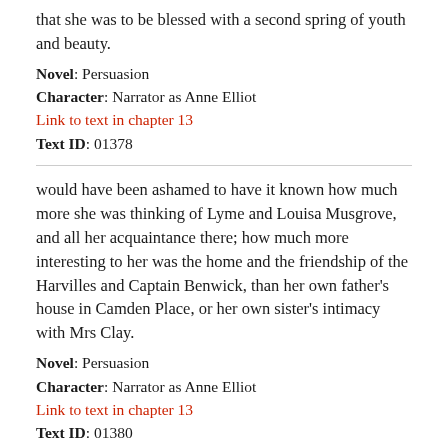that she was to be blessed with a second spring of youth and beauty.
Novel: Persuasion
Character: Narrator as Anne Elliot
Link to text in chapter 13
Text ID: 01378
would have been ashamed to have it known how much more she was thinking of Lyme and Louisa Musgrove, and all her acquaintance there; how much more interesting to her was the home and the friendship of the Harvilles and Captain Benwick, than her own father's house in Camden Place, or her own sister's intimacy with Mrs Clay.
Novel: Persuasion
Character: Narrator as Anne Elliot
Link to text in chapter 13
Text ID: 01380
"I think you are very likely to suffer the most of the two; your feelings are less reconciled to the change than mine. By remaining in the neighbourhood, I am become inured to it."